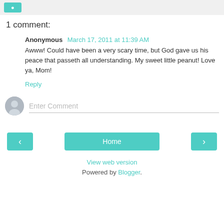1 comment:
Anonymous March 17, 2011 at 11:39 AM
Awww! Could have been a very scary time, but God gave us his peace that passeth all understanding. My sweet little peanut! Love ya, Mom!
Reply
Enter Comment
Home
View web version
Powered by Blogger.